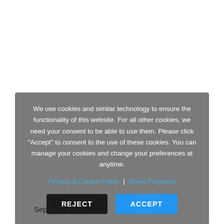We use cookies and similar technology to ensure the functionality of this website. For all other cookies, we need your consent to be able to use them. Please click "Accept" to consent to the use of these cookies. You can manage your cookies and change your preferences at anytime.
Privacy & Cookie Policy | Show Purposes
REJECT
ACCEPT
September 2021